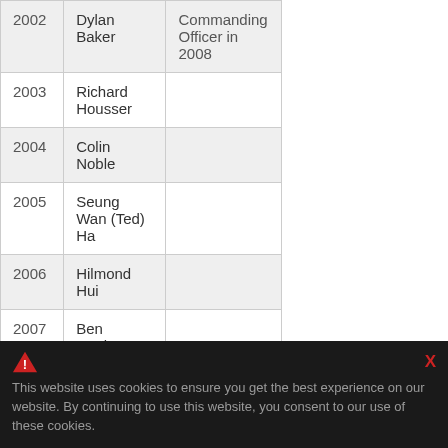| Year | Name | Notes |
| --- | --- | --- |
| 2002 | Dylan Baker | Commanding Officer in 2008 |
| 2003 | Richard Housser |  |
| 2004 | Colin Noble |  |
| 2005 | Seung Wan (Ted) Ha |  |
| 2006 | Hilmond Hui |  |
| 2007 | Ben Hanlon |  |
| 2008 | Michael Sifton |  |
| 2009 | Erik Kimmerer |  |
| 2010 | Braden Noxon |  |
This website uses cookies to ensure you get the best experience on our website. By continuing to use this website, you consent to our use of these cookies.